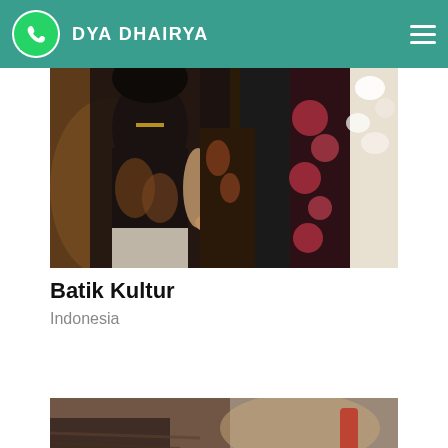DYA DHAIRYA
[Figure (photo): Woman in black batik dress browsing colorful patterned fabric garments in a shop]
Batik Kultur
Indonesia
[Figure (photo): Close-up of sewing/tailoring work, partial view of fabric and tools]